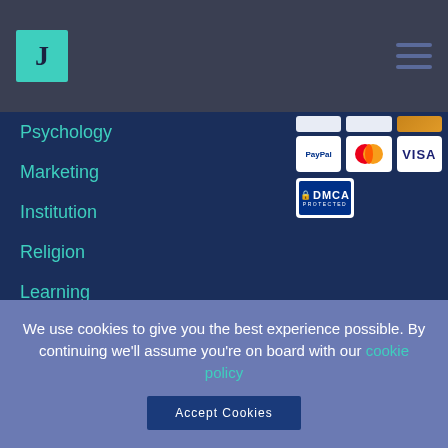[Figure (logo): Green J logo on dark nav bar with hamburger menu icon]
Psychology
Marketing
Institution
Religion
Learning
Technology
[Figure (illustration): Payment method logos: partial card icons (top row), PayPal, MasterCard, VISA logos, and DMCA PROTECTED badge]
Plagiarism checker for students
Order
About Us
Moneyback guarantee
Terms of Usage
Privacy Policy and Term of Use
We use cookies to give you the best experience possible. By continuing we'll assume you're on board with our cookie policy
Accept Cookies